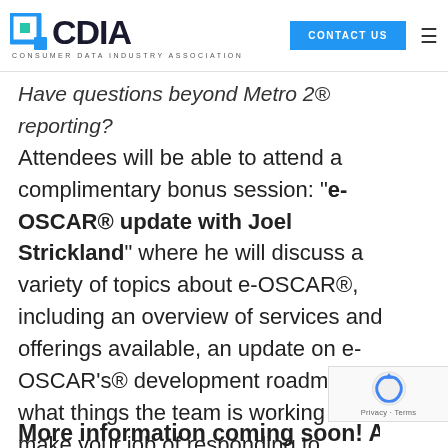[Figure (logo): CDIA - Consumer Data Industry Association logo with teal/blue icon and dark text]
Have questions beyond Metro 2® reporting? Attendees will be able to attend a complimentary bonus session: "e-OSCAR® update with Joel Strickland" where he will discuss a variety of topics about e-OSCAR®, including an overview of services and offerings available, an update on e-OSCAR's® development roadmap, and what things the team is working on to make your job of responding to consumer credit disputes simpler.
More information coming soon! Attendees...